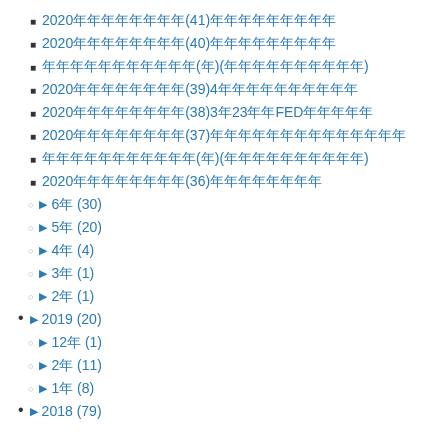2020年年年年年年年年(41)年年年年年年年年年
2020年年年年年年年年(40)年年年年年年年年年
年年年年年年年年年年年(年)(年年年年年年年年年年)
2020年年年年年年年年(39)4年年年年年年年年年年
2020年年年年年年年年(38)3年23年年FED年年年年年
2020年年年年年年年年(37)年年年年年年年年年年年年年年
年年年年年年年年年年年(年)(年年年年年年年年年年)
2020年年年年年年年年(36)年年年年年年年年
► 6年 (30)
► 5年 (20)
► 4年 (4)
► 3年 (1)
► 2年 (1)
► 2019 (20)
► 12年 (1)
► 2年 (11)
► 1年 (8)
► 2018 (79)